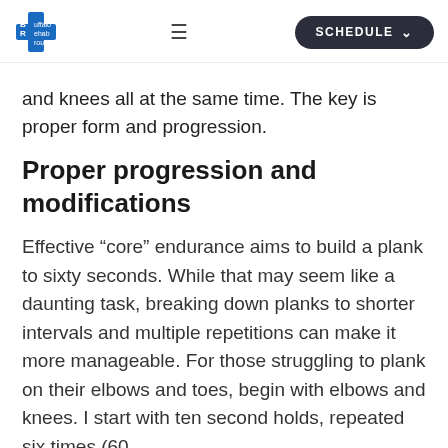Buffalo Rehab Group | SCHEDULE
and knees all at the same time. The key is proper form and progression.
Proper progression and modifications
Effective “core” endurance aims to build a plank to sixty seconds. While that may seem like a daunting task, breaking down planks to shorter intervals and multiple repetitions can make it more manageable. For those struggling to plank on their elbows and toes, begin with elbows and knees. I start with ten second holds, repeated six times (60